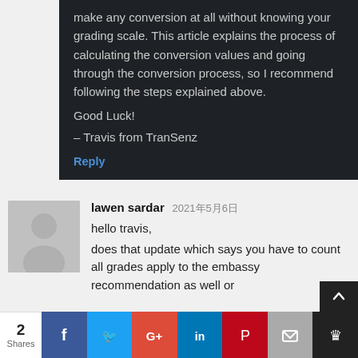make any conversion at all without knowing your grading scale. This article explains the process of calculating the conversion values and going through the conversion process, so I recommend following the steps explained above.
Good Luck!
– Travis from TranSenz
Reply
lawen sardar 2021年5月6日
hello travis,
does that update which says you have to count all grades apply to the embassy recommendation as well or
2 Shares [Facebook] [Twitter] [Google+] [LinkedIn] [Pinterest] [Email] [More]